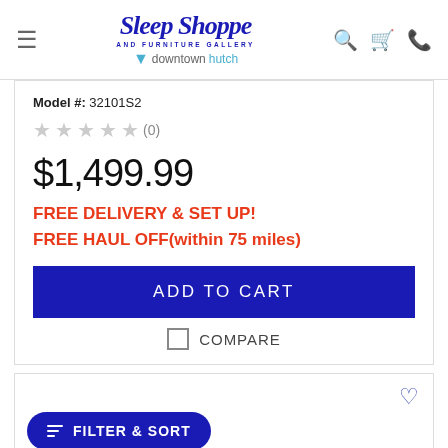[Figure (logo): Sleep Shoppe and Furniture Gallery logo with 'downtownhutch' tagline]
Model #: 32101S2
★★★★★ (0)
$1,499.99
FREE DELIVERY & SET UP!
FREE HAUL OFF(within 75 miles)
ADD TO CART
COMPARE